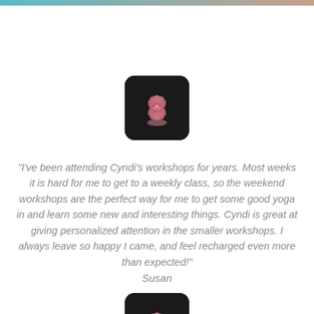[Figure (illustration): Pink lotus flower icon on black rounded square background, centered near top of page]
"I've been attending Cyndi's workshops for years. Most weeks it is hard for me to get to a weekly class, so the weekend workshops are the perfect way for me to get some good yoga in and learn some new and interesting things. Cyndi is great at giving personalized attention in the smaller workshops. I always leave so happy I came, and feel recharged even more than expected!"
Susan
[Figure (illustration): Pink lotus flower icon on black rounded square background, partially visible at bottom of page]